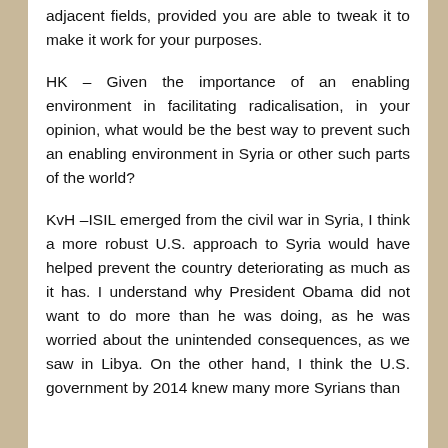adjacent fields, provided you are able to tweak it to make it work for your purposes.
HK – Given the importance of an enabling environment in facilitating radicalisation, in your opinion, what would be the best way to prevent such an enabling environment in Syria or other such parts of the world?
KvH –ISIL emerged from the civil war in Syria, I think a more robust U.S. approach to Syria would have helped prevent the country deteriorating as much as it has. I understand why President Obama did not want to do more than he was doing, as he was worried about the unintended consequences, as we saw in Libya. On the other hand, I think the U.S. government by 2014 knew many more Syrians than